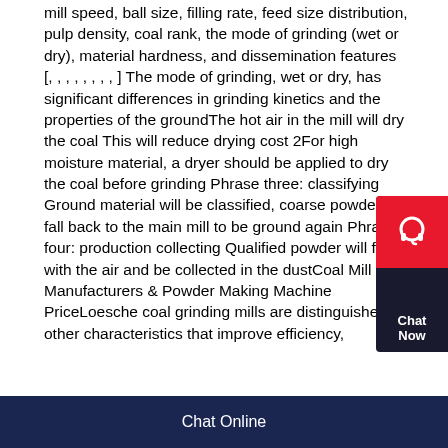mill speed, ball size, filling rate, feed size distribution, pulp density, coal rank, the mode of grinding (wet or dry), material hardness, and dissemination features [, , , , , , , , ] The mode of grinding, wet or dry, has significant differences in grinding kinetics and the properties of the groundThe hot air in the mill will dry the coal This will reduce drying cost 2For high moisture material, a dryer should be applied to dry the coal before grinding Phrase three: classifying Ground material will be classified, coarse powder will fall back to the main mill to be ground again Phrase four: production collecting Qualified powder will flow with the air and be collected in the dustCoal Mill Manufacturers & Powder Making Machine PriceLoesche coal grinding mills are distinguished by other characteristics that improve efficiency,
[Figure (other): Chat Now widget - red circular area with headphone icon on dark background, with close button, showing 'Chat Now' text]
Chat Online